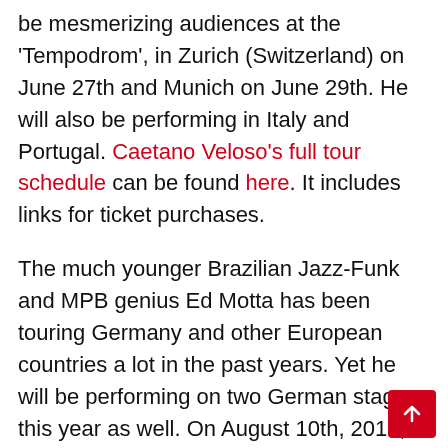be mesmerizing audiences at the 'Tempodrom', in Zurich (Switzerland) on June 27th and Munich on June 29th. He will also be performing in Italy and Portugal. Caetano Veloso's full tour schedule can be found here. It includes links for ticket purchases.
The much younger Brazilian Jazz-Funk and MPB genius Ed Motta has been touring Germany and other European countries a lot in the past years. Yet he will be performing on two German stages this year as well. On August 10th, 2019, a gig in Würselen is scheduled, on October 22nd he will be in Essen. In this case, tickets are available here.
Yet another Brazilian icon will be on his way